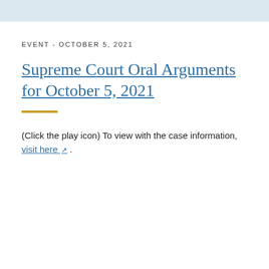EVENT - OCTOBER 5, 2021
Supreme Court Oral Arguments for October 5, 2021
(Click the play icon) To view with the case information, visit here .